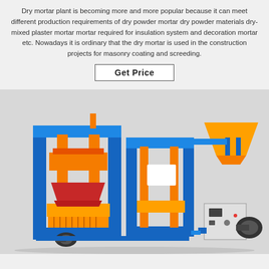Dry mortar plant is becoming more and more popular because it can meet different production requirements of dry powder mortar dry powder materials dry-mixed plaster mortar mortar required for insulation system and decoration mortar etc. Nowadays it is ordinary that the dry mortar is used in the construction projects for masonry coating and screeding.
Get Price
[Figure (photo): Industrial brick/block making machine with blue frame structure, orange components and yellow hopper, shown on a light grey background.]